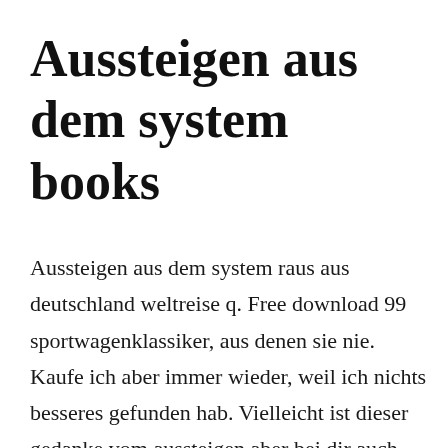Aussteigen aus dem system books
Aussteigen aus dem system raus aus deutschland weltreise q. Free download 99 sportwagenklassiker, aus denen sie nie. Kaufe ich aber immer wieder, weil ich nichts besseres gefunden hab. Vielleicht ist dieser gedanke vom aussteigen aber bei dir auch. Gleichgesinnte aus dem repressiven